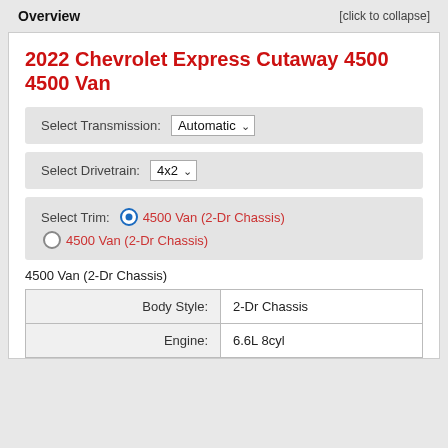Overview
[click to collapse]
2022 Chevrolet Express Cutaway 4500 4500 Van
Select Transmission: Automatic
Select Drivetrain: 4x2
Select Trim: 4500 Van (2-Dr Chassis) / 4500 Van (2-Dr Chassis)
4500 Van (2-Dr Chassis)
|  |  |
| --- | --- |
| Body Style: | 2-Dr Chassis |
| Engine: | 6.6L 8cyl |